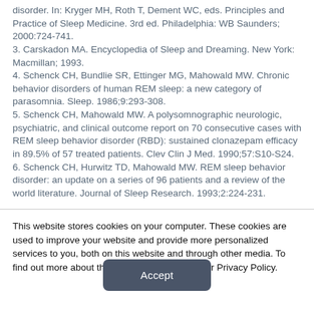disorder. In: Kryger MH, Roth T, Dement WC, eds. Principles and Practice of Sleep Medicine. 3rd ed. Philadelphia: WB Saunders; 2000:724-741.
3. Carskadon MA. Encyclopedia of Sleep and Dreaming. New York: Macmillan; 1993.
4. Schenck CH, Bundlie SR, Ettinger MG, Mahowald MW. Chronic behavior disorders of human REM sleep: a new category of parasomnia. Sleep. 1986;9:293-308.
5. Schenck CH, Mahowald MW. A polysomnographic neurologic, psychiatric, and clinical outcome report on 70 consecutive cases with REM sleep behavior disorder (RBD): sustained clonazepam efficacy in 89.5% of 57 treated patients. Clev Clin J Med. 1990;57:S10-S24.
6. Schenck CH, Hurwitz TD, Mahowald MW. REM sleep behavior disorder: an update on a series of 96 patients and a review of the world literature. Journal of Sleep Research. 1993;2:224-231.
This website stores cookies on your computer. These cookies are used to improve your website and provide more personalized services to you, both on this website and through other media. To find out more about the cookies we use, see our Privacy Policy.
Accept